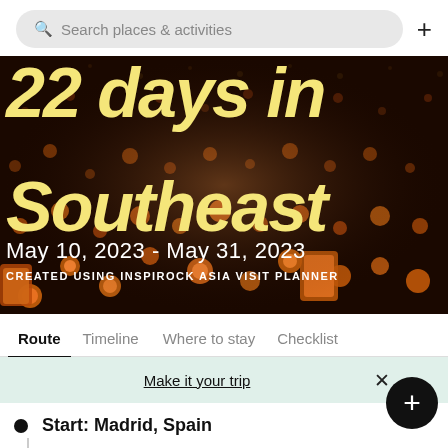Search places & activities
[Figure (photo): Night sky filled with hundreds of glowing sky lanterns floating upward against a dark background, creating a magical luminous scene]
22 days in Southeast
May 10, 2023 - May 31, 2023
CREATED USING INSPIROCK ASIA VISIT PLANNER
Route  Timeline  Where to stay  Checklist
Make it your trip
Start: Madrid, Spain